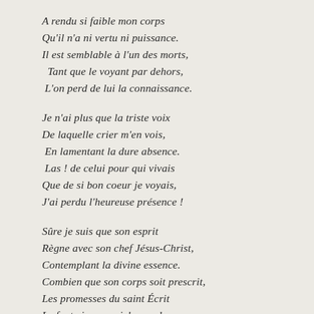A rendu si faible mon corps
Qu'il n'a ni vertu ni puissance.
Il est semblable à l'un des morts,
Tant que le voyant par dehors,
L'on perd de lui la connaissance.
Je n'ai plus que la triste voix
De laquelle crier m'en vois,
En lamentant la dure absence.
Las ! de celui pour qui vivais
Que de si bon coeur je voyais,
J'ai perdu l'heureuse présence !
Sûre je suis que son esprit
Règne avec son chef Jésus-Christ,
Contemplant la divine essence.
Combien que son corps soit prescrit,
Les promesses du saint Écrit
Le font vivre au ciel sans dourance.